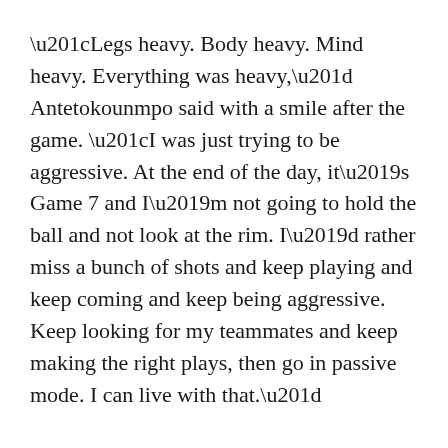“Legs heavy. Body heavy. Mind heavy. Everything was heavy,” Antetokounmpo said with a smile after the game. “I was just trying to be aggressive. At the end of the day, it’s Game 7 and I’m not going to hold the ball and not look at the rim. I’d rather miss a bunch of shots and keep playing and keep coming and keep being aggressive. Keep looking for my teammates and keep making the right plays, then go in passive mode. I can live with that.”
Antetokounmpo had to take on a large share of the scoring burden for Milwaukee all series, becoming the first player with 25 shot attempts in seven straight playoff games since Allen Iverson in 2001, according to ESPN Stats & Information.
Yet, after the game, Antetokounmpo said he enjoyed